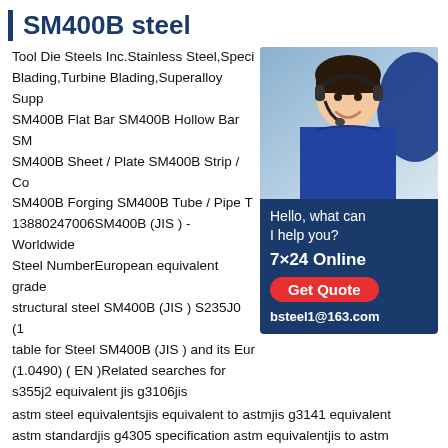SM400B steel
Tool Die Steels Inc.Stainless Steel,Speci Blading,Turbine Blading,Superalloy Supp SM400B Flat Bar SM400B Hollow Bar SM SM400B Sheet / Plate SM400B Strip / Co SM400B Forging SM400B Tube / Pipe T 13880247006SM400B (JIS ) - Worldwide Steel NumberEuropean equivalent grade structural steel SM400B (JIS ) S235J0 (1 table for Steel SM400B (JIS ) and its Eur (1.0490) ( EN )Related searches for s355j2 equivalent jis g3106jis astm steel equivalentsjis equivalent to astmjis g3141 equivalent astm standardjis g4305 specification astm equivalentjis to astm conversion chartjis steel number chartPrevious123456NextSM570,SM570 steel,SM570 Grade SM570 steel plate-S355J2 Adopt standard JIS G3106-
[Figure (photo): Customer service representative wearing a headset, smiling. Dark blue sidebar panel with text: Hello, what can I help you? 7x24 Online, Get Quote button, bsteel1@163.com]